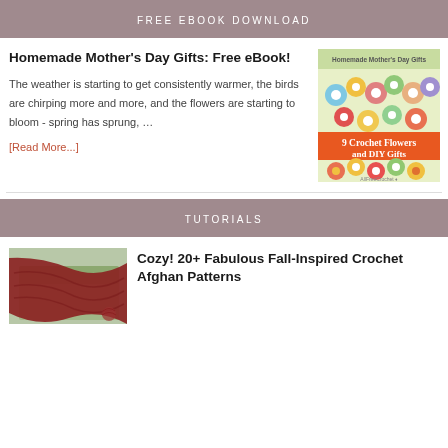FREE EBOOK DOWNLOAD
Homemade Mother's Day Gifts: Free eBook!
[Figure (illustration): Book cover showing crochet flowers with text '9 Crochet Flowers and DIY Gifts' and 'Homemade Mother's Day Gifts' and 'AllFreeCrochet']
The weather is starting to get consistently warmer, the birds are chirping more and more, and the flowers are starting to bloom - spring has sprung, …
[Read More...]
TUTORIALS
[Figure (photo): Photo of a dark red/maroon crochet afghan blanket draped over a light green couch with some yarn visible]
Cozy! 20+ Fabulous Fall-Inspired Crochet Afghan Patterns